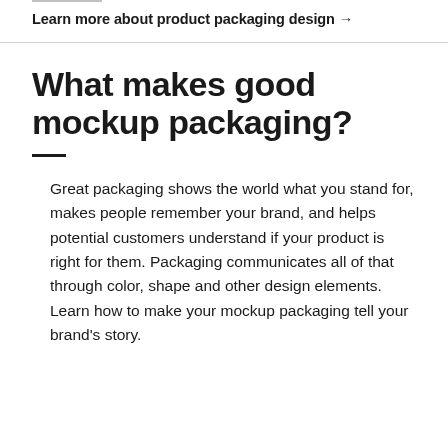Learn more about product packaging design →
What makes good mockup packaging?
Great packaging shows the world what you stand for, makes people remember your brand, and helps potential customers understand if your product is right for them. Packaging communicates all of that through color, shape and other design elements. Learn how to make your mockup packaging tell your brand's story.